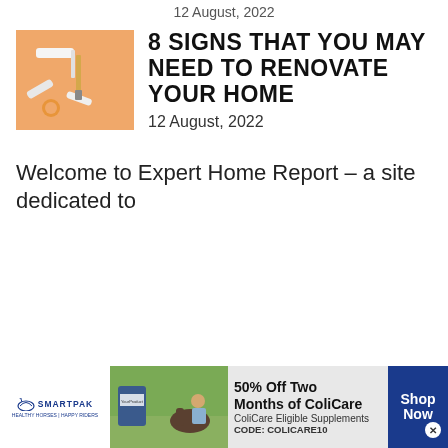12 August, 2022
[Figure (photo): Orange background with paint rollers, brushes, and painting tools laid flat]
8 SIGNS THAT YOU MAY NEED TO RENOVATE YOUR HOME
12 August, 2022
Welcome to Expert Home Report – a site dedicated to
[Figure (photo): SmartPak advertisement banner: 50% Off Two Months of ColiCare, ColiCare Eligible Supplements, CODE: COLICARE10, with horse and rider photo, Shop Now button]